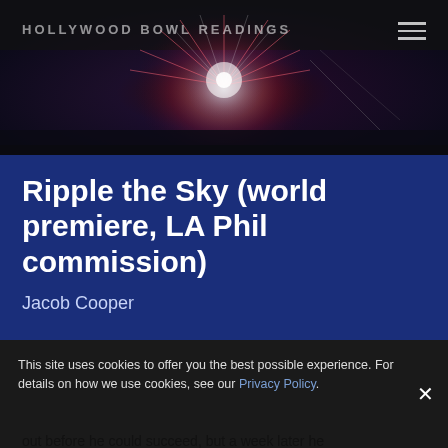[Figure (photo): Dark header image with fireworks/light burst effect in red, white and purple tones against a dark background. Hollywood Bowl Readings logo text overlaid in upper left.]
HOLLYWOOD BOWL READINGS
Ripple the Sky (world premiere, LA Phil commission)
Jacob Cooper
About this Piece
On a rainy day in February 1854, Robert Schumann walked
out before he could succeed, but a week later he
This site uses cookies to offer you the best possible experience. For details on how we use cookies, see our Privacy Policy.